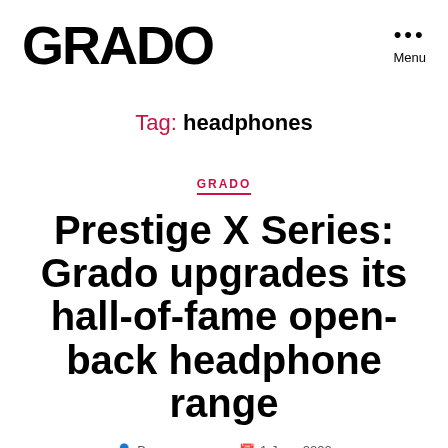GRADO  Menu
Tag: headphones
GRADO
Prestige X Series: Grado upgrades its hall-of-fame open-back headphone range
By armourpress   1 June 2022